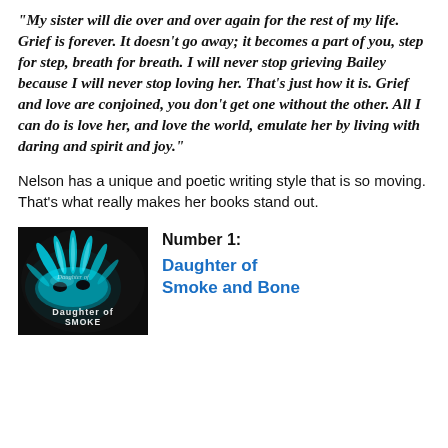“My sister will die over and over again for the rest of my life. Grief is forever. It doesn’t go away; it becomes a part of you, step for step, breath for breath. I will never stop grieving Bailey because I will never stop loving her. That’s just how it is. Grief and love are conjoined, you don’t get one without the other. All I can do is love her, and love the world, emulate her by living with daring and spirit and joy.”
Nelson has a unique and poetic writing style that is so moving. That’s what really makes her books stand out.
[Figure (photo): Book cover of Daughter of Smoke and Bone featuring a teal feathered masquerade mask against a dark background]
Number 1:
Daughter of Smoke and Bone